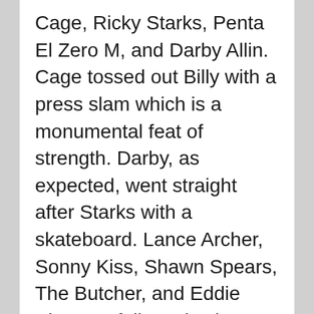Cage, Ricky Starks, Penta El Zero M, and Darby Allin. Cage tossed out Billy with a press slam which is a monumental feat of strength. Darby, as expected, went straight after Starks with a skateboard. Lance Archer, Sonny Kiss, Shawn Spears, The Butcher, and Eddie Kingston followed suit. Archer immediately made the match better. His presence is second to none. Dragongate alumni Matt Sydal pulled the joker card and narrowly avoided death when attempting his first Shooting Sydal Press.
Cage stuffed Darby into a body bag with